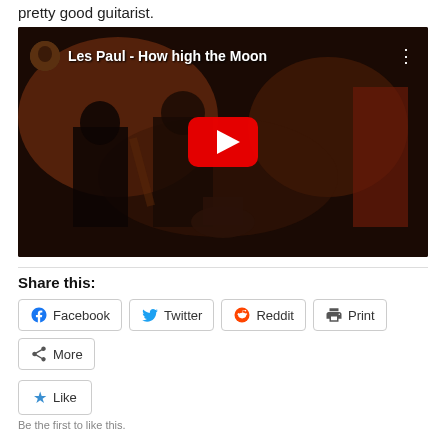pretty good guitarist.
[Figure (screenshot): YouTube video thumbnail for 'Les Paul - How high the Moon' showing musicians performing on a dark stage, with the YouTube play button overlay in the center and the video title in the top bar.]
Share this:
Facebook  Twitter  Reddit  Print  More
Like
Be the first to like this.